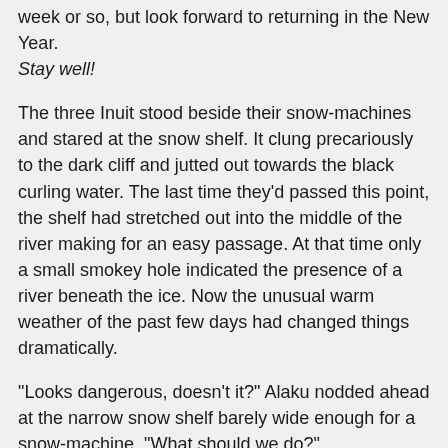week or so, but look forward to returning in the New Year. Stay well!
The three Inuit stood beside their snow-machines and stared at the snow shelf. It clung precariously to the dark cliff and jutted out towards the black curling water. The last time they'd passed this point, the shelf had stretched out into the middle of the river making for an easy passage. At that time only a small smokey hole indicated the presence of a river beneath the ice. Now the unusual warm weather of the past few days had changed things dramatically.
"Looks dangerous, doesn't it?" Alaku nodded ahead at the narrow snow shelf barely wide enough for a snow-machine. "What should we do?"
"Still wide enough to get by, but it won't be there when we return. We'll have to find another route home..." Kudlikuluk was obviously ready to try running it in spite of the clear danger of sliding sideways into the cold, rushing water.
It was decided to undo the snow-machines from the komatiks, the wooden sleds each man pulled behind his